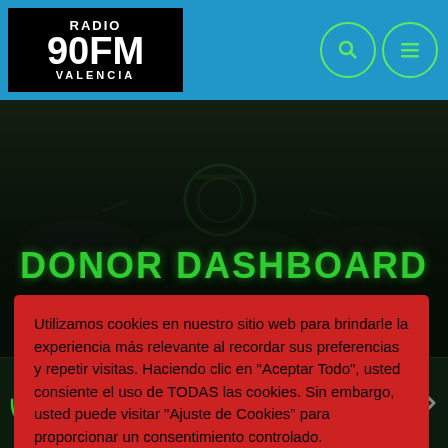RADIO 90FM VALENCIA
DONOR DASHBOARD
Utilizamos cookies en nuestro sitio web para brindarle la experiencia más relevante al recordar sus preferencias y repetir visitas. Haciendo clic en "Aceptar Todo", usted consiente el uso de TODAS las cookies. Sin embargo, usted puede visitar "Ajuste de Cookies" para proporcionar un consentimiento controlado.
[give_donor_dashboard]
Radio 90FM
Radio 90FM Valencia